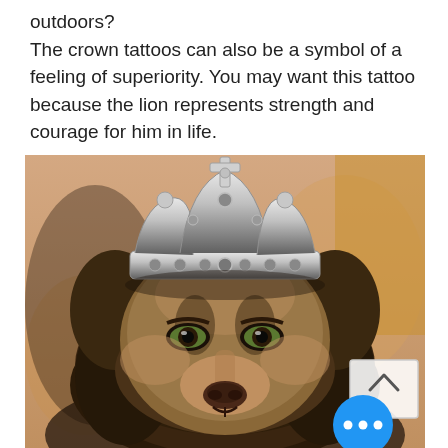outdoors?
The crown tattoos can also be a symbol of a feeling of superiority. You may want this tattoo because the lion represents strength and courage for him in life.
[Figure (photo): Black and grey realistic tattoo of a lion wearing a detailed ornate crown, on a person's leg/forearm. The lion is depicted in a frontal view with the large decorative crown sitting on its head. A scroll-up button and a blue action button with three dots are overlaid on the image.]